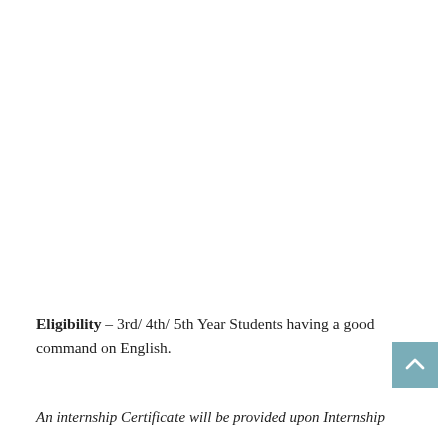Eligibility – 3rd/ 4th/ 5th Year Students having a good command on English.
An internship Certificate will be provided upon Internship